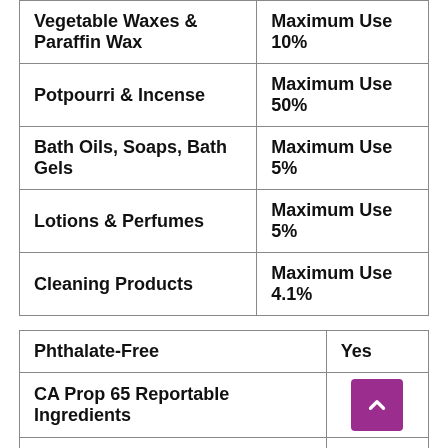| Product Type | Maximum Use |
| --- | --- |
| Vegetable Waxes & Paraffin Wax | Maximum Use 10% |
| Potpourri & Incense | Maximum Use 50% |
| Bath Oils, Soaps, Bath Gels | Maximum Use 5% |
| Lotions & Perfumes | Maximum Use 5% |
| Cleaning Products | Maximum Use 4.1% |
| Property | Value |
| --- | --- |
| Phthalate-Free | Yes |
| CA Prop 65 Reportable Ingredients |  |
| Flash Point of Fragrance | 156F |